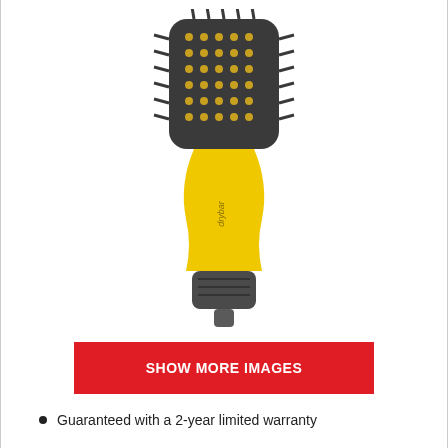[Figure (photo): Drybar hot air brush styling tool with yellow handle and dark gray bristle head and nozzle end]
SHOW MORE IMAGES
Guaranteed with a 2-year limited warranty